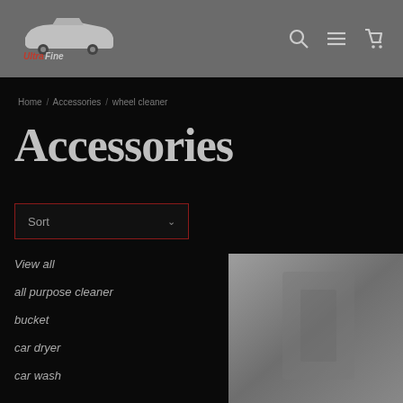[Figure (logo): Ultra Fine Car Care logo with stylized car silhouette]
[Figure (other): Navigation icons: search magnifying glass, menu/site navigation hamburger, shopping cart]
Home / Accessories / wheel cleaner
Accessories
Sort
View all
all purpose cleaner
bucket
car dryer
car wash
[Figure (photo): Product photo on dark grey background, partially visible]